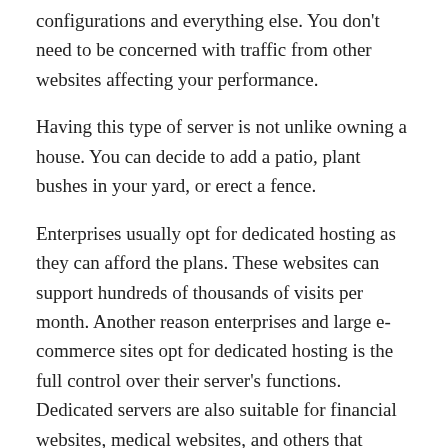configurations and everything else. You don't need to be concerned with traffic from other websites affecting your performance.
Having this type of server is not unlike owning a house. You can decide to add a patio, plant bushes in your yard, or erect a fence.
Enterprises usually opt for dedicated hosting as they can afford the plans. These websites can support hundreds of thousands of visits per month. Another reason enterprises and large e-commerce sites opt for dedicated hosting is the full control over their server's functions. Dedicated servers are also suitable for financial websites, medical websites, and others that require exceptionally high security.
The management levels of dedicated servers differ. You can manage your server yourself or hire a hosting provider.